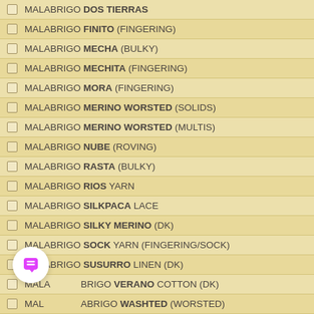MALABRIGO DOS TIERRAS
MALABRIGO FINITO (FINGERING)
MALABRIGO MECHA (BULKY)
MALABRIGO MECHITA (FINGERING)
MALABRIGO MORA (FINGERING)
MALABRIGO MERINO WORSTED (SOLIDS)
MALABRIGO MERINO WORSTED (MULTIS)
MALABRIGO NUBE (ROVING)
MALABRIGO RASTA (BULKY)
MALABRIGO RIOS YARN
MALABRIGO SILKPACA LACE
MALABRIGO SILKY MERINO (DK)
MALABRIGO SOCK YARN (FINGERING/SOCK)
MALABRIGO SUSURRO LINEN (DK)
MALABRIGO VERANO COTTON (DK)
MALABRIGO WASHTED (WORSTED)